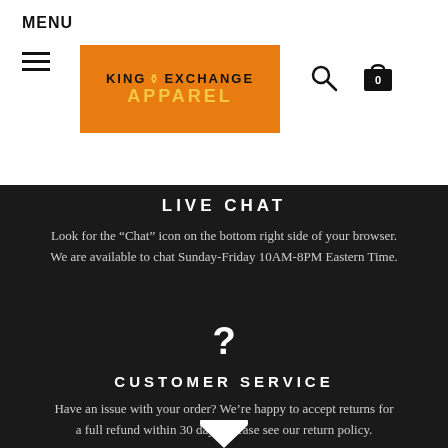MENU
[Figure (logo): King Exchange Apparel logo on orange background with crown icon]
LIVE CHAT
Look for the “Chat” icon on the bottom right side of your browser. We are available to chat Sunday-Friday 10AM-8PM Eastern Time.
[Figure (illustration): Large white question mark icon]
CUSTOMER SERVICE
Have an issue with your order? We’re happy to accept returns for a full refund within 30 days. Please see our return policy.
[Figure (illustration): Hourglass icon partially visible at bottom of page]